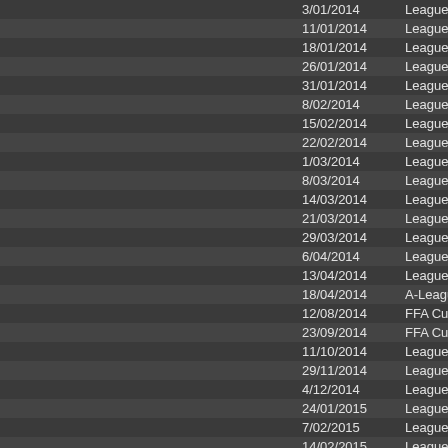|  | Date | Type |
| --- | --- | --- |
|  | 3/01/2014 | League |
|  | 11/01/2014 | League |
|  | 18/01/2014 | League |
|  | 26/01/2014 | League |
|  | 31/01/2014 | League |
|  | 8/02/2014 | League |
|  | 15/02/2014 | League |
|  | 22/02/2014 | League |
|  | 1/03/2014 | League |
|  | 8/03/2014 | League |
|  | 14/03/2014 | League |
|  | 21/03/2014 | League |
|  | 29/03/2014 | League |
|  | 6/04/2014 | League |
|  | 13/04/2014 | League |
|  | 18/04/2014 | A-League |
|  | 12/08/2014 | FFA Cup |
|  | 23/09/2014 | FFA Cup |
|  | 11/10/2014 | League |
|  | 29/11/2014 | League |
|  | 4/12/2014 | League |
|  | 24/01/2015 | League |
|  | 7/02/2015 | League |
|  | 14/02/2015 | League |